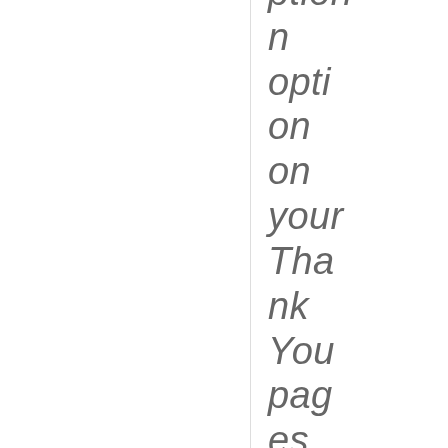ption n option on on your Thank You pages so your cust